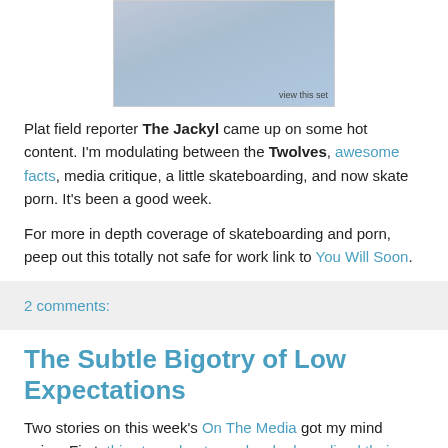[Figure (photo): Photo of a person with blue background and 'view this set' label]
Plat field reporter The Jackyl came up on some hot content. I'm modulating between the Twolves, awesome facts, media critique, a little skateboarding, and now skate porn. It's been a good week.
For more in depth coverage of skateboarding and porn, peep out this totally not safe for work link to You Will Soon.
2 comments:
The Subtle Bigotry of Low Expectations
Two stories on this week's On The Media got my mind going. First, this story about people who have lived their whole lives with the internet being a very, very real thing. The story makes the distinction between so-called digital immigrants,